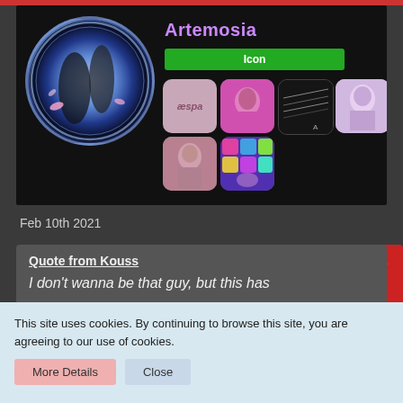[Figure (screenshot): User profile card with username Artemosia, circular profile image showing two K-pop performers with blue glow effect, green Icon button, and a 2x4 grid of K-pop icon thumbnails on black background]
Feb 10th 2021
Quote from Kouss
I don't wanna be that guy, but this has
This site uses cookies. By continuing to browse this site, you are agreeing to our use of cookies.
More Details
Close